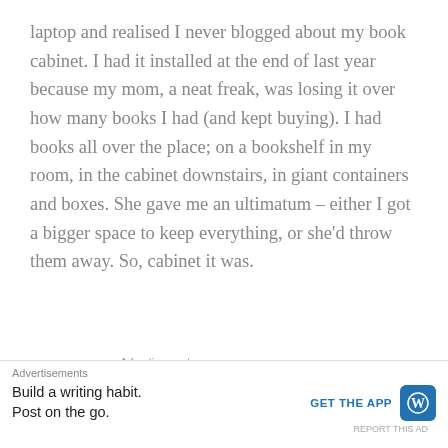laptop and realised I never blogged about my book cabinet. I had it installed at the end of last year because my mom, a neat freak, was losing it over how many books I had (and kept buying). I had books all over the place; on a bookshelf in my room, in the cabinet downstairs, in giant containers and boxes. She gave me an ultimatum – either I got a bigger space to keep everything, or she'd throw them away. So, cabinet it was.
Advertisements
[Figure (screenshot): WordPress.com advertisement banner with purple/pink gradient background showing 'Simplified pricing for everything you need' text and WordPress.com logo]
Advertisements
Build a writing habit. Post on the go.
GET THE APP